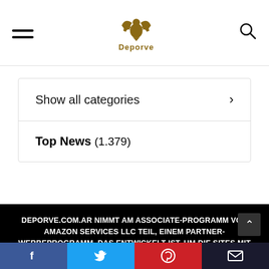[Figure (logo): Deporve website header with hamburger menu, golden eagle logo with text 'Deporve', and search icon]
Show all categories >
Top News (1.379)
DEPORVE.COM.AR NIMMT AM ASSOCIATE-PROGRAMM VON AMAZON SERVICES LLC TEIL, EINEM PARTNER-WERBEPROGRAMM, DAS ENTWICKELT IST, UM DIE SITES MIT EINEM MITTEL ZU BIETEN WERBEGEBÜHREN IN UND IN VERBINDUNG MIT AMAZON.IT ZU VERDIENEN. AMAZON, DAS AMAZON-LOGO,
Facebook | Twitter | Pinterest | Email